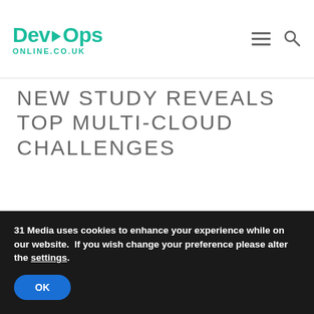DevOps Online.co.uk
NEW STUDY REVEALS TOP MULTI-CLOUD CHALLENGES
DATE
20.04.21
31 Media uses cookies to enhance your experience while on our website. If you wish change your preference please alter the settings.